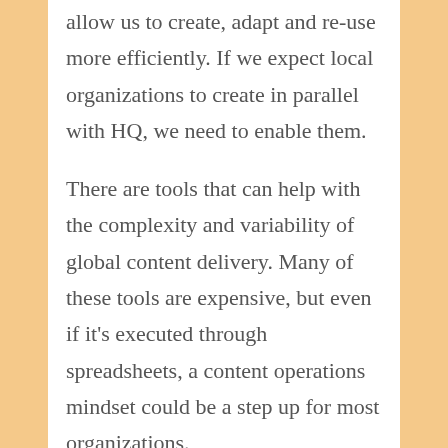allow us to create, adapt and re-use more efficiently. If we expect local organizations to create in parallel with HQ, we need to enable them.
There are tools that can help with the complexity and variability of global content delivery. Many of these tools are expensive, but even if it's executed through spreadsheets, a content operations mindset could be a step up for most organizations.
Moral support
Water-cooler chats with comms